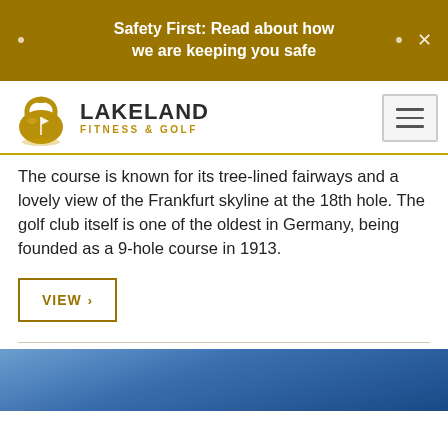Safety First: Read about how we are keeping you safe
[Figure (logo): Lakeland Fitness & Golf logo with kettlebell/golf icon]
The course is known for its tree-lined fairways and a lovely view of the Frankfurt skyline at the 18th hole. The golf club itself is one of the oldest in Germany, being founded as a 9-hole course in 1913.
VIEW ›
[Figure (photo): Blue sky photo strip at bottom of page]